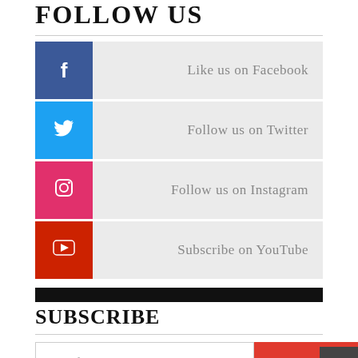FOLLOW US
Like us on Facebook
Follow us on Twitter
Follow us on Instagram
Subscribe on YouTube
SUBSCRIBE
Email
Sign up now
POLL